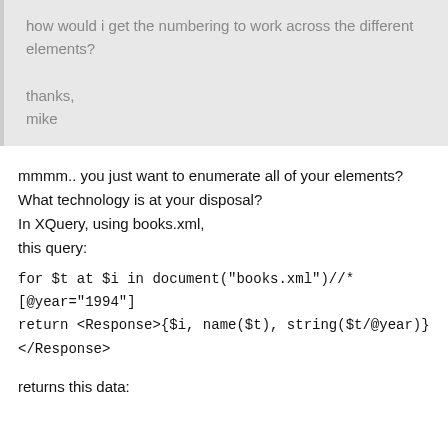how would i get the numbering to work across the different elements?

thanks,
mike
mmmm.. you just want to enumerate all of your elements? What technology is at your disposal?
In XQuery, using books.xml,
this query:
for $t at $i in document("books.xml")//*[@year="1994"]
return <Response>{$i, name($t), string($t/@year)}
</Response>
returns this data: